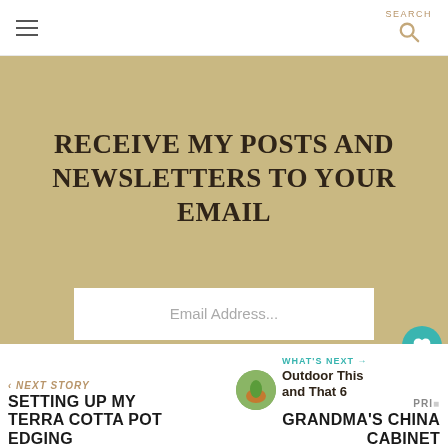RECEIVE MY POSTS AND NEWSLETTERS TO YOUR EMAIL
Email Address...
SUBMIT
1
‹ NEXT STORY SETTING UP MY TERRA COTTA POT EDGING
PREVIOUS... GRANDMA'S CHINA CABINET
WHAT'S NEXT → Outdoor This and That 6